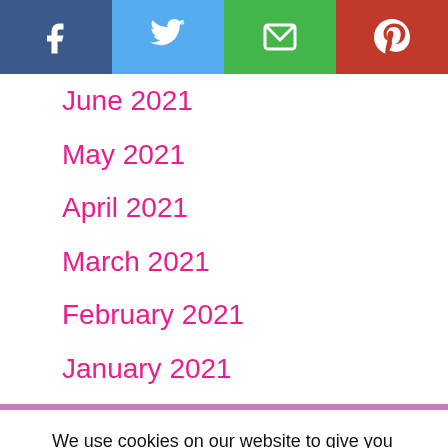[Figure (infographic): Social share bar with four buttons: Facebook (dark blue), Twitter (light blue), Email/envelope (green), Pinterest (red), each with white icons]
June 2021
May 2021
April 2021
March 2021
February 2021
January 2021
We use cookies on our website to give you the most relevant experience by remembering your preferences and repeat visits. By clicking “Accept”, you consent to the use of ALL the cookies.
Cookie settings | ACCEPT